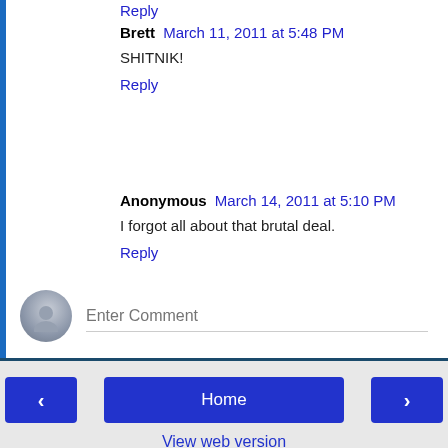Reply
Brett  March 11, 2011 at 5:48 PM
SHITNIK!
Reply
Anonymous  March 14, 2011 at 5:10 PM
I forgot all about that brutal deal.
Reply
Enter Comment
Home  View web version